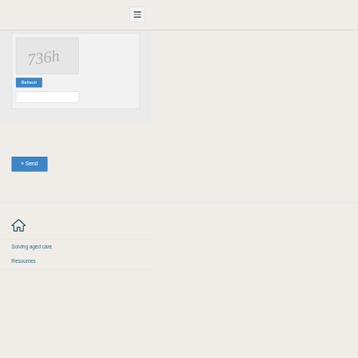[Figure (screenshot): Hamburger menu button (three horizontal lines) in top right corner]
[Figure (screenshot): CAPTCHA image showing handwritten text '736h' in a grey box with dashed border container, a blue Refresh button below it, and an empty text input field]
» Send
[Figure (illustration): Home icon (house shape) in teal/dark blue]
Solving aged care
Resources